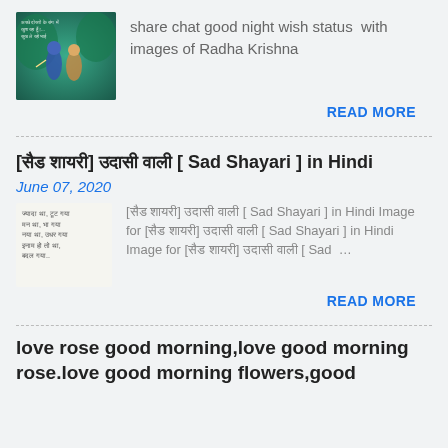[Figure (photo): Thumbnail image of Radha Krishna in teal/green artistic style]
share chat good night wish status  with images of Radha Krishna
READ MORE
[सैड शायरी] उदासी वाली [ Sad Shayari ] in Hindi
June 07, 2020
[Figure (screenshot): Thumbnail with Hindi sad shayari text in small font]
[सैड शायरी] उदासी वाली [ Sad Shayari ] in Hindi Image for [सैड शायरी] उदासी वाली [ Sad Shayari ] in Hindi Image for [सैड शायरी] उदासी वाली [ Sad …
READ MORE
love rose good morning,love good morning rose.love good morning flowers,good